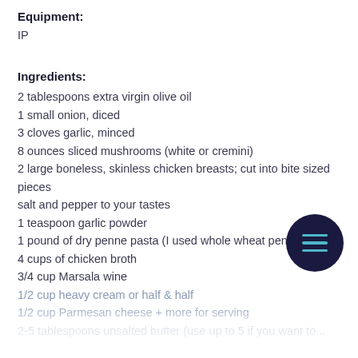Equipment:
IP
Ingredients:
2 tablespoons extra virgin olive oil
1 small onion, diced
3 cloves garlic, minced
8 ounces sliced mushrooms (white or cremini)
2 large boneless, skinless chicken breasts; cut into bite sized pieces
salt and pepper to your tastes
1 teaspoon garlic powder
1 pound of dry penne pasta (I used whole wheat penne)
4 cups of chicken broth
3/4 cup Marsala wine
1/2 cup heavy cream or half & half
1/2 cup Parmesan cheese + more for serving
2-5 tablespoons unsalted butter (use up to 5 if you want to...)